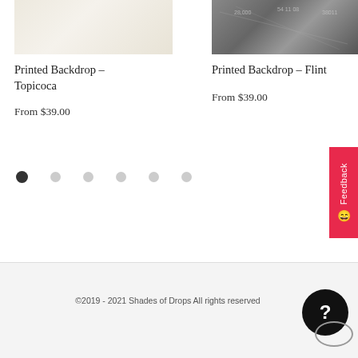[Figure (photo): Product photo of Printed Backdrop - Topicoca, showing a light beige/cream textured surface]
Printed Backdrop – Topicoca
From $39.00
[Figure (photo): Product photo of Printed Backdrop - Flint, showing a dark gray concrete/flint textured surface with faint markings]
Printed Backdrop – Flint
From $39.00
©2019 - 2021 Shades of Drops All rights reserved